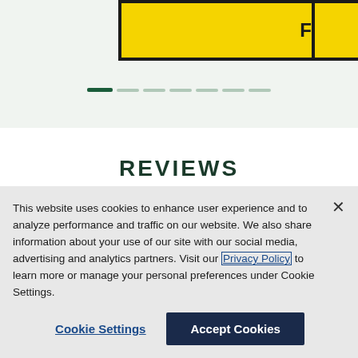[Figure (screenshot): Yellow 'FIND TIRES' button with black border at top of page, partially visible right side button, and carousel dot indicators below]
REVIEWS
Read All Reviews ›
This website uses cookies to enhance user experience and to analyze performance and traffic on our website. We also share information about your use of our site with our social media, advertising and analytics partners. Visit our Privacy Policy to learn more or manage your personal preferences under Cookie Settings.
Cookie Settings
Accept Cookies